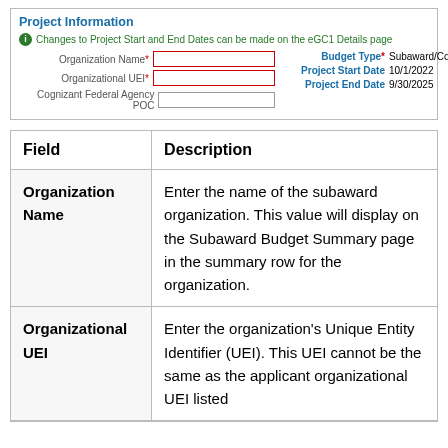[Figure (screenshot): Project Information form section showing fields: Organization Name (required, red border input), Organizational UEI (required, red border input), Cognizant Federal Agency POC (plain input), Budget Type (Subaward/Consortium), Project Start Date (10/1/2022), Project End Date (9/30/2025). Info note: Changes to Project Start and End Dates can be made on the eGC1 Details page.]
| Field | Description |
| --- | --- |
| Organization Name | Enter the name of the subaward organization. This value will display on the Subaward Budget Summary page in the summary row for the organization. |
| Organizational UEI | Enter the organization's Unique Entity Identifier (UEI). This UEI cannot be the same as the applicant organizational UEI listed |